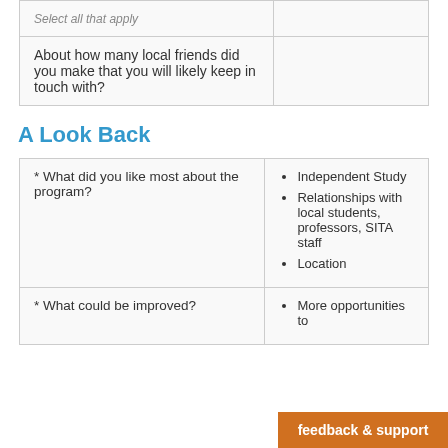| Question | Response |
| --- | --- |
| Select all that apply |  |
| About how many local friends did you make that you will likely keep in touch with? |  |
A Look Back
| Question | Response |
| --- | --- |
| * What did you like most about the program? | Independent Study
Relationships with local students, professors, SITA staff
Location |
| * What could be improved? | More opportunities to |
feedback & support